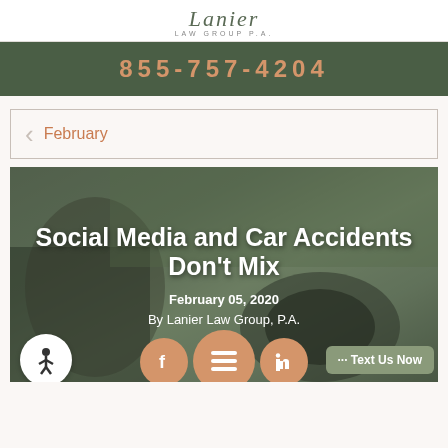Lanier Law Group P.A.
855-757-4204
February
[Figure (photo): Hero image of a person driving a car, overlaid with article title 'Social Media and Car Accidents Don't Mix', date 'February 05, 2020', and byline 'By Lanier Law Group, P.A.']
Social Media and Car Accidents Don't Mix
February 05, 2020
By Lanier Law Group, P.A.